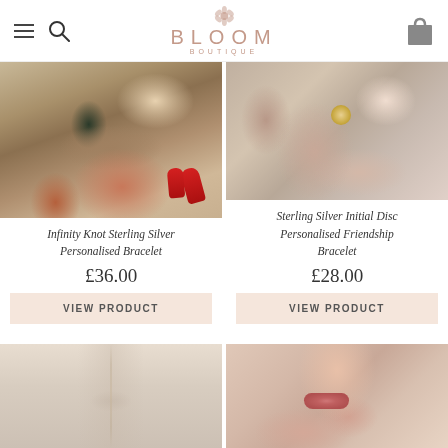BLOOM BOUTIQUE
[Figure (photo): Close-up of a hand with red nails holding a bracelet with infinity knot charm on a floral fabric background]
Infinity Knot Sterling Silver Personalised Bracelet
£36.00
VIEW PRODUCT
[Figure (photo): Close-up of a wrist wearing a sterling silver initial disc friendship bracelet, with pink blouse fabric in the background]
Sterling Silver Initial Disc Personalised Friendship Bracelet
£28.00
VIEW PRODUCT
[Figure (photo): Close-up of a delicate necklace chain on a light background]
[Figure (photo): Close-up portrait of a woman's face, lips and hand in warm tones]